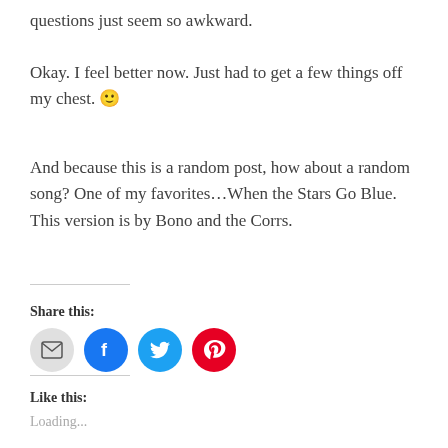questions just seem so awkward.
Okay. I feel better now. Just had to get a few things off my chest. 🙂
And because this is a random post, how about a random song? One of my favorites…When the Stars Go Blue. This version is by Bono and the Corrs.
Share this:
[Figure (infographic): Four social sharing icon buttons: email (grey circle with envelope), Facebook (blue circle with f), Twitter (cyan circle with bird), Pinterest (red circle with P)]
Like this:
Loading...